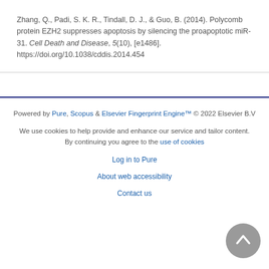Zhang, Q., Padi, S. K. R., Tindall, D. J., & Guo, B. (2014). Polycomb protein EZH2 suppresses apoptosis by silencing the proapoptotic miR-31. Cell Death and Disease, 5(10), [e1486]. https://doi.org/10.1038/cddis.2014.454
Powered by Pure, Scopus & Elsevier Fingerprint Engine™ © 2022 Elsevier B.V

We use cookies to help provide and enhance our service and tailor content. By continuing you agree to the use of cookies

Log in to Pure

About web accessibility

Contact us